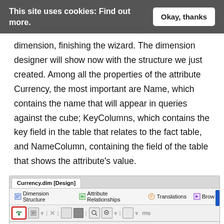This site uses cookies: Find out more.
dimension, finishing the wizard. The dimension designer will show now with the structure we just created. Among all the properties of the attribute Currency, the most important are Name, which contains the name that will appear in queries against the cube; KeyColumns, which contains the key field in the table that relates to the fact table, and NameColumn, containing the field of the table that shows the attribute's value.
[Figure (screenshot): Screenshot of SQL Server Analysis Services dimension designer showing Currency.dim [Design] tab with Dimension Structure, Attribute Relationships, Translations, and Browse tabs visible in the toolbar.]